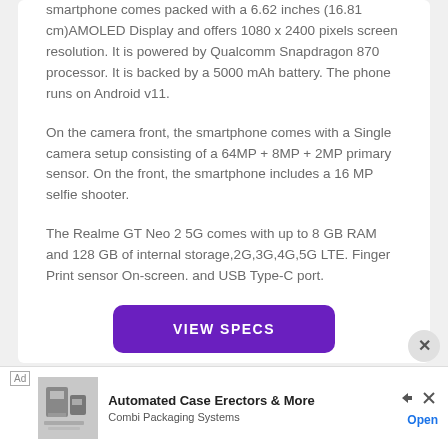smartphone comes packed with a 6.62 inches (16.81 cm)AMOLED Display and offers 1080 x 2400 pixels screen resolution. It is powered by Qualcomm Snapdragon 870 processor. It is backed by a 5000 mAh battery. The phone runs on Android v11.
On the camera front, the smartphone comes with a Single camera setup consisting of a 64MP + 8MP + 2MP primary sensor. On the front, the smartphone includes a 16 MP selfie shooter.
The Realme GT Neo 2 5G comes with up to 8 GB RAM and 128 GB of internal storage,2G,3G,4G,5G LTE. Finger Print sensor On-screen. and USB Type-C port.
[Figure (other): Purple 'VIEW SPECS' button and advertisement banner for 'Automated Case Erectors & More' by Combi Packaging Systems with Open link]